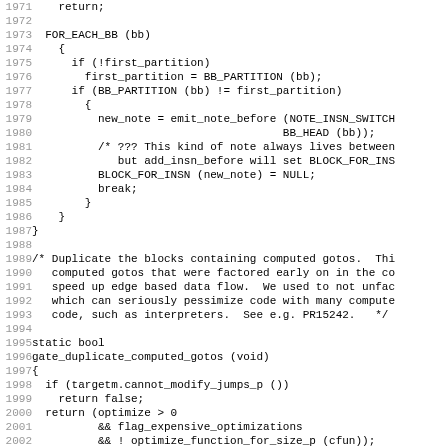Source code listing, lines 1971-2002, showing C code for FOR_EACH_BB loop, comment about duplicating blocks containing computed gotos, and gate_duplicate_computed_gotos function.